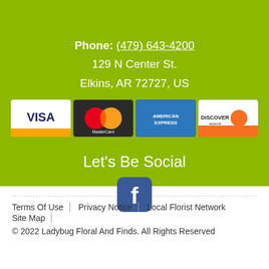Phone: (479) 643-4200
129 N Center St.
Elkins, AR 72727, US
[Figure (logo): Row of four payment card logos: Visa, MasterCard, American Express, Discover]
Let's Be Social
[Figure (logo): Facebook icon - rounded square with white 'f' on dark blue background]
Terms Of Use | Privacy Notice | Local Florist Network
Site Map
© 2022 Ladybug Floral And Finds. All Rights Reserved